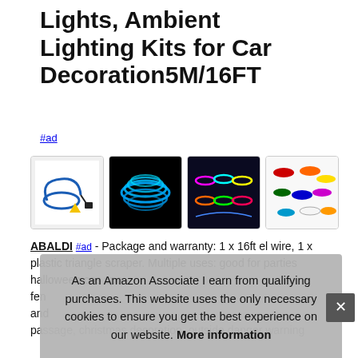Lights, Ambient Lighting Kits for Car Decoration5M/16FT
#ad
[Figure (photo): Four product photos of EL wire ambient lighting kits: blue wire with triangle scraper, coiled blue glowing EL wire on black background, colorful EL wire coils in rainbow colors displayed in car context, and a collection of multi-colored EL wire coils]
ABALDI #ad - Package and warranty: 1 x 16ft el wire, 1 x plastic triangle scraper. Multiple uses: good for parties halloween cos... spo... fen... and... passage, christmas decoration, outside danger warning
As an Amazon Associate I earn from qualifying purchases. This website uses the only necessary cookies to ensure you get the best experience on our website. More information